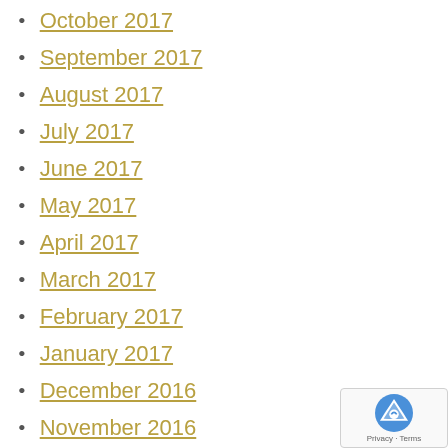October 2017
September 2017
August 2017
July 2017
June 2017
May 2017
April 2017
March 2017
February 2017
January 2017
December 2016
November 2016
October 2016
September 2016